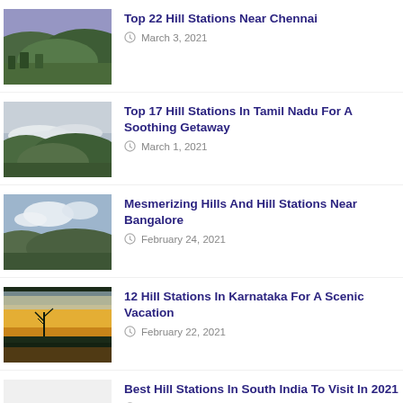[Figure (photo): Green hills and valley landscape with purple sky]
Top 22 Hill Stations Near Chennai
March 3, 2021
[Figure (photo): Misty hills with clouds floating above green forested valley]
Top 17 Hill Stations In Tamil Nadu For A Soothing Getaway
March 1, 2021
[Figure (photo): Wide valley landscape with sky and clouds]
Mesmerizing Hills And Hill Stations Near Bangalore
February 24, 2021
[Figure (photo): Sunset landscape with silhouette of bare tree and orange sky]
12 Hill Stations In Karnataka For A Scenic Vacation
February 22, 2021
Best Hill Stations In South India To Visit In 2021
February 18, 2021